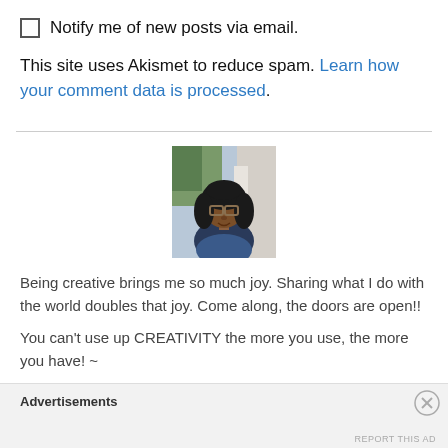Notify me of new posts via email.
This site uses Akismet to reduce spam. Learn how your comment data is processed.
[Figure (photo): Profile photo of a woman with glasses and curly hair, outdoors in front of a building]
Being creative brings me so much joy. Sharing what I do with the world doubles that joy. Come along, the doors are open!!
You can't use up CREATIVITY the more you use, the more you have! ~
Advertisements